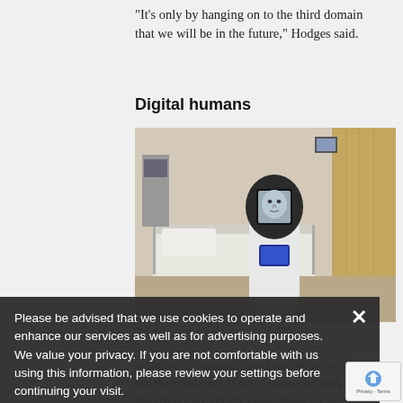“It’s only by hanging on to the third domain that we will be in the future,” Hodges said.
Digital humans
[Figure (photo): A teleoperated robot with a human face displayed on its monitor screen, photographed in a hospital room. The RP-VITA robot at Mercy San Juan Hospital.]
displayed on the monitor RP-VITA robot at Mercy San Juan Hospital in ... roncelli
Please be advised that we use cookies to operate and enhance our services as well as for advertising purposes. We value your privacy. If you are not comfortable with us using this information, please review your settings before continuing your visit.
Manage your navigation settings
Find out more
gitization of humans, cloud based information and the emergence of deep learning or artificial intelligence are already transforming the area of human knowledge